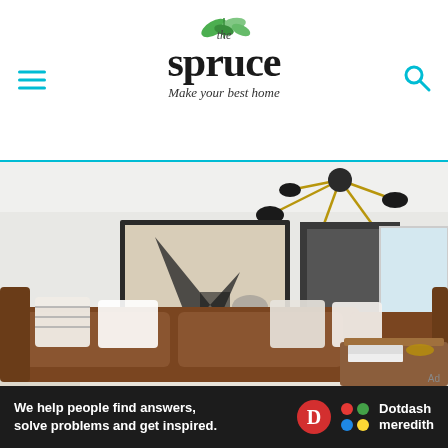the spruce — Make your best home
[Figure (photo): Interior living room with brown leather sectional sofa, abstract framed art on white wall, modern sputnik chandelier with black dome shades on brass arms, patterned area rug, white throw pillows, and a wood coffee table with books and decorative objects.]
We help people find answers, solve problems and get inspired.
[Figure (logo): Dotdash Meredith logo: red circle with white D, colorful dots icon, and Dotdash Meredith wordmark in white]